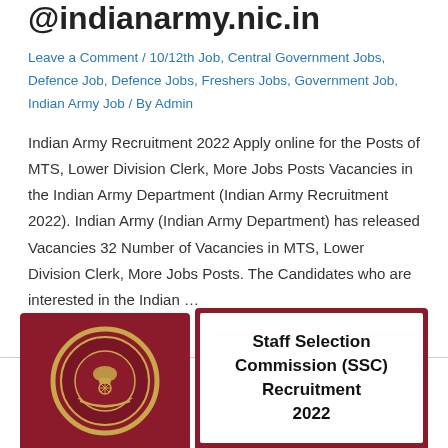@indianarmy.nic.in
Leave a Comment / 10/12th Job, Central Government Jobs, Defence Job, Defence Jobs, Freshers Jobs, Government Job, Indian Army Job / By Admin
Indian Army Recruitment 2022 Apply online for the Posts of MTS, Lower Division Clerk, More Jobs Posts Vacancies in the Indian Army Department (Indian Army Recruitment 2022). Indian Army (Indian Army Department) has released Vacancies 32 Number of Vacancies in MTS, Lower Division Clerk, More Jobs Posts. The Candidates who are interested in the Indian …
Read More »
[Figure (infographic): SSC recruitment card with dark red background showing Staff Selection Commission (SSC) Recruitment 2022 text and SSC logo emblem]